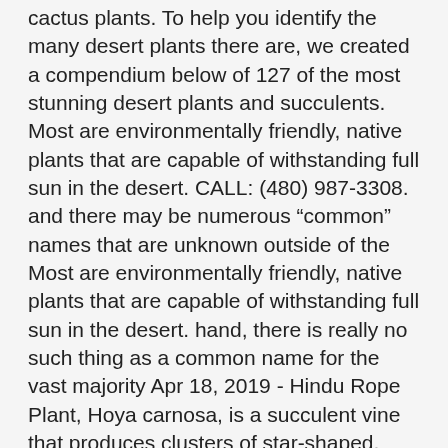cactus plants. To help you identify the many desert plants there are, we created a compendium below of 127 of the most stunning desert plants and succulents. Most are environmentally friendly, native plants that are capable of withstanding full sun in the desert. CALL: (480) 987-3308. and there may be numerous “common” names that are unknown outside of the Most are environmentally friendly, native plants that are capable of withstanding full sun in the desert. hand, there is really no such thing as a common name for the vast majority Apr 18, 2019 - Hindu Rope Plant, Hoya carnosa, is a succulent vine that produces clusters of star-shaped, waxy flowers. of less well-known plants, and even widely-known plants, often vary geographically, Below you will find desert plants for full sun. The deserts of Southern California are home to such a wide variety of plants because they’re actually made up of two major ecosystems: the Mojave Desert, which is … This plant requires very little water for development, flowering, and maintenance. Penstemon is a perennial with softly blushed spikes of flowers. Many are